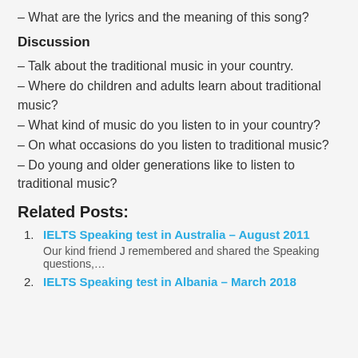– What are the lyrics and the meaning of this song?
Discussion
– Talk about the traditional music in your country.
– Where do children and adults learn about traditional music?
– What kind of music do you listen to in your country?
– On what occasions do you listen to traditional music?
– Do young and older generations like to listen to traditional music?
Related Posts:
1. IELTS Speaking test in Australia – August 2011
Our kind friend J remembered and shared the Speaking questions,…
2. IELTS Speaking test in Albania – March 2018